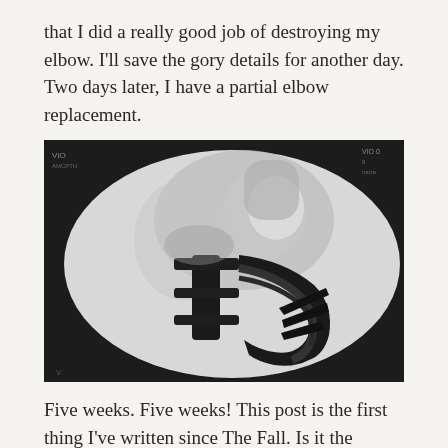that I did a really good job of destroying my elbow. I'll save the gory details for another day. Two days later, I have a partial elbow replacement.
[Figure (photo): X-ray image showing a partial elbow replacement with a metal prosthetic implant visible inside the elbow joint, displayed on a lightbox screen. The image is circular/oval shaped against a dark background.]
Five weeks. Five weeks! This post is the first thing I've written since The Fall. Is it the concussion or pain